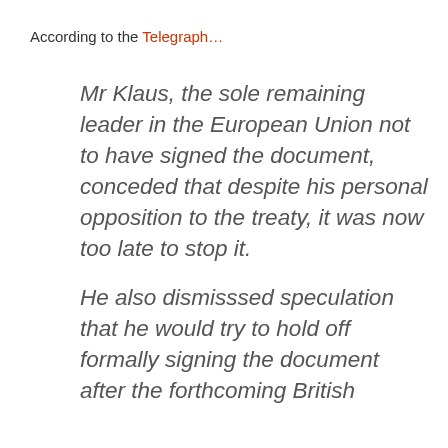According to the Telegraph…
Mr Klaus, the sole remaining leader in the European Union not to have signed the document, conceded that despite his personal opposition to the treaty, it was now too late to stop it.
He also dismisssed speculation that he would try to hold off formally signing the document after the forthcoming British